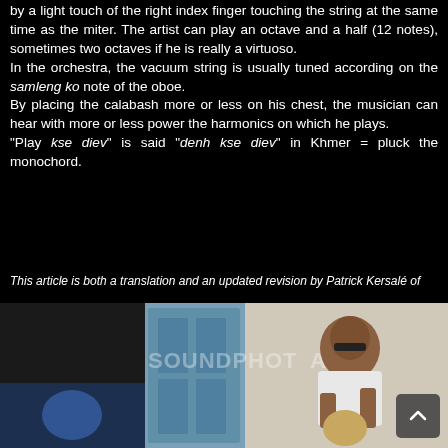by a light touch of the right index finger touching the string at the same time as the miter. The artist can play an octave and a half (12 notes), sometimes two octaves if he is really a virtuoso. In the orchestra, the vacuum string is usually tuned according on the samleng ko note of the oboe. By placing the calabash more or less on his chest, the musician can hear with more or less power the harmonics on which he plays. "Play kse diev" is said "denh kse diev" in Khmer = pluck the monochord.
This article is both a translation and an updated revision by Patrick Kersalé of "L'orchestre de mariage cambodgien et ses instruments" written in 1968 by Jacques Brunet. In: Bulletin de l'Ecole française d'Extrême- Orient. Tome 66, 1979. pp. 203-254.
[Figure (photo): An elderly man sitting and holding a musical instrument, photographed from the side. Watermark text visible reading SOUNDPHOT and another word. Background shows a blue door and a wall.]